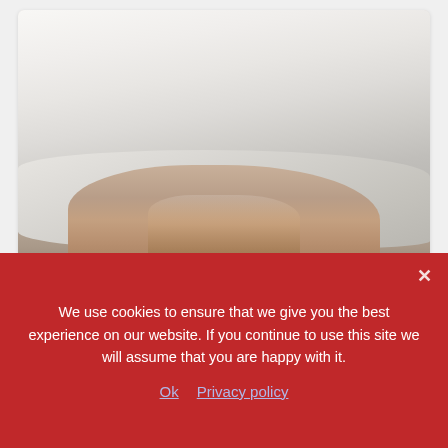[Figure (photo): Two people sleeping in bed covered with white bedding, feet visible at the bottom of the frame]
Podcast #736: Could Sleeping in Separate Beds Improve Your Relationship?
We use cookies to ensure that we give you the best experience on our website. If you continue to use this site we will assume that you are happy with it.
Ok   Privacy policy